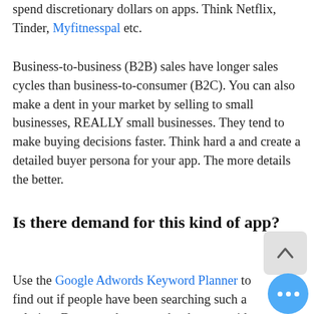spend discretionary dollars on apps. Think Netflix, Tinder, Myfitnesspal etc.
Business-to-business (B2B) sales have longer sales cycles than business-to-consumer (B2C). You can also make a dent in your market by selling to small businesses, REALLY small businesses. They tend to make buying decisions faster. Think hard a and create a detailed buyer persona for your app. The more details the better.
Is there demand for this kind of app?
Use the Google Adwords Keyword Planner to find out if people have been searching such a solution. Do a search to see who there provides that service. Gauge how